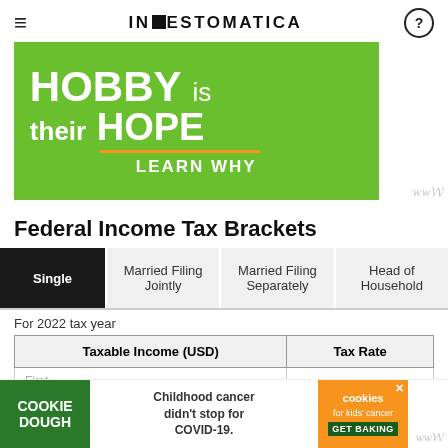≡   INVESTOMATICA   ?
[Figure (illustration): Green advertisement banner with white bold text: 'HOBBY is their HOPE' with an orange underline and 'LEARN WHY' below]
Federal Income Tax Brackets
| Single | Married Filing Jointly | Married Filing Separately | Head of Household |
| --- | --- | --- | --- |
For 2022 tax year
| Taxable Income (USD) | Tax Rate |
| --- | --- |
| First ... |  |
| From ... |  |
[Figure (illustration): Bottom advertisement banner: COOKIE DOUGH green logo on left, 'Childhood cancer didn't stop for COVID-19.' text in center, orange cookies for kids cancer GET BAKING on right]